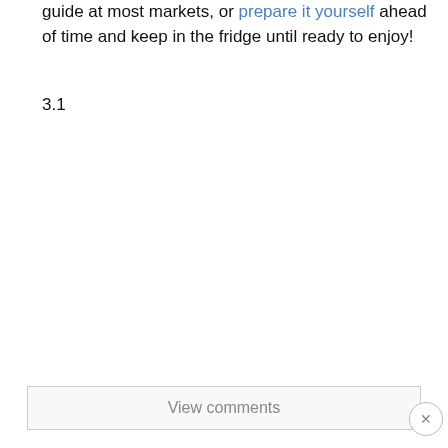guide at most markets, or prepare it yourself ahead of time and keep in the fridge until ready to enjoy!
3.1
View comments